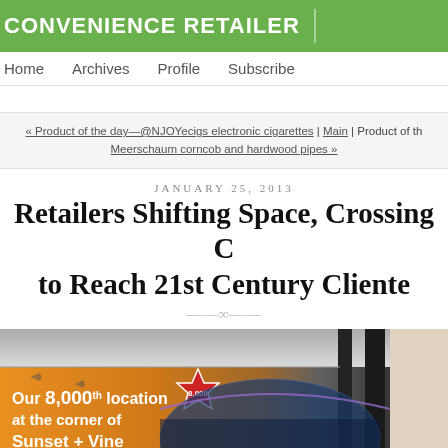CONVENIENCE RETAILER
Home   Archives   Profile   Subscribe
« Product of the day—@NJOYecigs electronic cigarettes | Main | Product of th… Meerschaum corncob and hardwood pipes »
JANUARY 25, 2013
Retailers Shifting Space, Crossing C… to Reach 21st Century Cliente…
[Figure (photo): Interior photo of a retail location showing an orange banner advertisement reading 'Our 8,000th location at the corner of Sunset + Vine' with a star badge, alongside ceiling and decorative black vertical bars on the right side.]